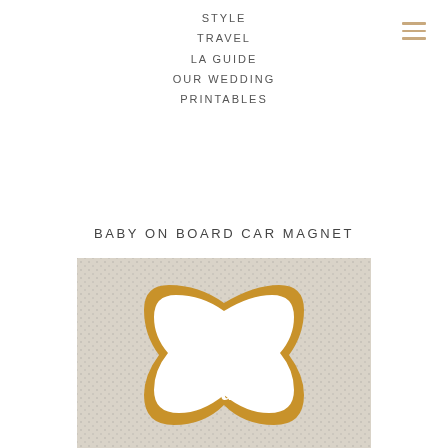STYLE
TRAVEL
LA GUIDE
OUR WEDDING
PRINTABLES
BABY ON BOARD CAR MAGNET
[Figure (photo): Photo of a retro-styled 'Baby on Board' car magnet with gold/tan border and white text in a groovy 70s font, displayed on a textured woven rug background.]